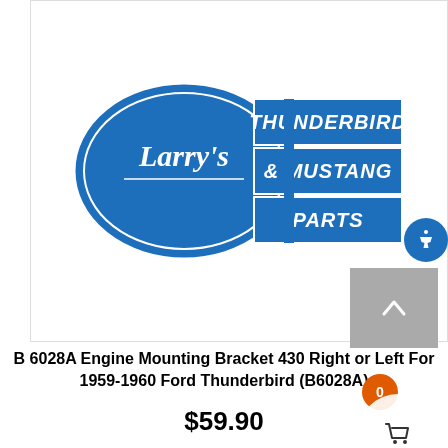[Figure (logo): Larry's Thunderbird & Mustang Parts logo - blue oval with cursive 'Larry's' text on left, blue rectangular banner on right with 'THUNDERBIRD & MUSTANG PARTS' in white text]
B 6028A Engine Mounting Bracket 430 Right or Left For 1959-1960 Ford Thunderbird (B6028A)
$59.90